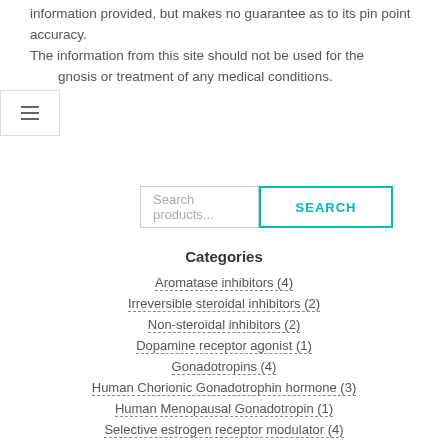information provided, but makes no guarantee as to its pin point accuracy. The information from this site should not be used for the diagnosis or treatment of any medical conditions.
Search products...
Categories
Aromatase inhibitors (4)
Irreversible steroidal inhibitors (2)
Non-steroidal inhibitors (2)
Dopamine receptor agonist (1)
Gonadotropins (4)
Human Chorionic Gonadotrophin hormone (3)
Human Menopausal Gonadotropin (1)
Selective estrogen receptor modulator (4)